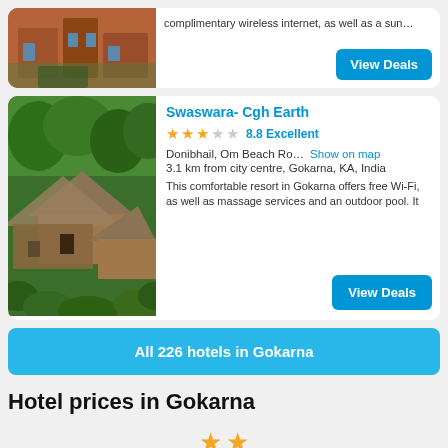[Figure (screenshot): Partial hotel card showing top of a building image and a 'View Deals' button with truncated description text about complimentary wireless internet]
[Figure (photo): Aerial photo of Swaswara-Cgh Earth resort showing thatched-roof huts surrounded by green trees]
Swaswara- Cgh Earth
★★★☆☆ 8.8 Excellent
Donibhail, Om Beach Ro… Show on map
3.1 km from city centre, Gokarna, KA, India
This comfortable resort in Gokarna offers free Wi-Fi, as well as massage services and an outdoor pool. It
All 226 hotels in Gokarna
Hotel prices in Gokarna
[Figure (other): Two gold star icons at the bottom of the page]